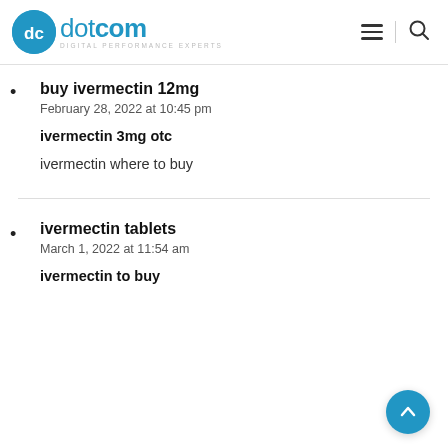dotcom DIGITAL PERFORMANCE EXPERTS
buy ivermectin 12mg
February 28, 2022 at 10:45 pm
ivermectin 3mg otc
ivermectin where to buy
ivermectin tablets
March 1, 2022 at 11:54 am
ivermectin to buy